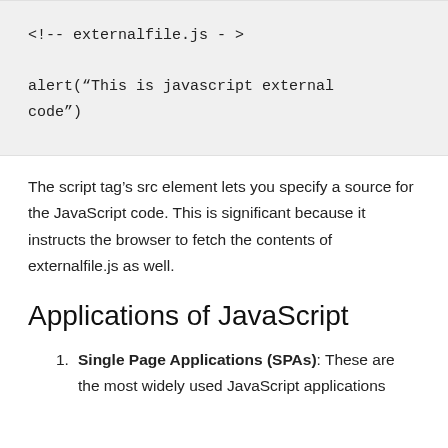<!-- externalfile.js - >

alert("This is javascript external code")
The script tag's src element lets you specify a source for the JavaScript code. This is significant because it instructs the browser to fetch the contents of externalfile.js as well.
Applications of JavaScript
Single Page Applications (SPAs): These are the most widely used JavaScript applications